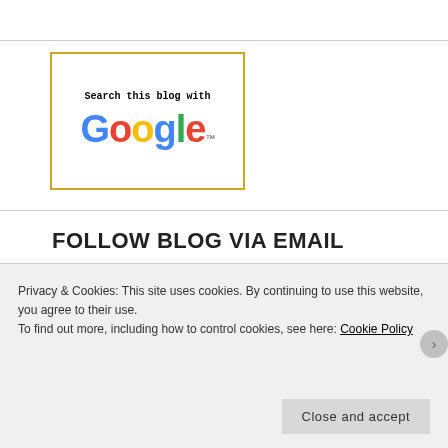[Figure (logo): Google search widget with yellow border, text 'Search this blog with' and colorful Google logo with trademark symbol]
FOLLOW BLOG VIA EMAIL
Enter your email address to follow this blog and receive notifications of new posts by email.
Email Address
Privacy & Cookies: This site uses cookies. By continuing to use this website, you agree to their use.
To find out more, including how to control cookies, see here: Cookie Policy
Close and accept